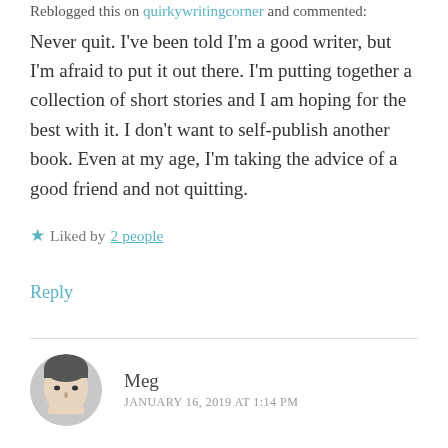Reblogged this on quirkywritingcorner and commented:
Never quit. I’ve been told I’m a good writer, but I’m afraid to put it out there. I’m putting together a collection of short stories and I am hoping for the best with it. I don’t want to self-publish another book. Even at my age, I’m taking the advice of a good friend and not quitting.
★ Liked by 2 people
Reply
Meg
JANUARY 16, 2019 AT 1:14 PM